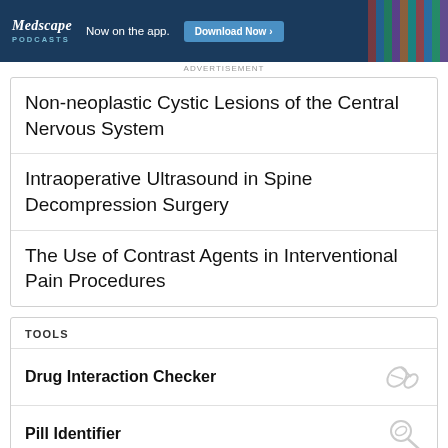[Figure (screenshot): Medscape Podcasts advertisement banner: dark blue background with Medscape PODCASTS logo, 'Now on the app.' text, and 'Download Now >' button]
ADVERTISEMENT
Non-neoplastic Cystic Lesions of the Central Nervous System
Intraoperative Ultrasound in Spine Decompression Surgery
The Use of Contrast Agents in Interventional Pain Procedures
TOOLS
Drug Interaction Checker
Pill Identifier